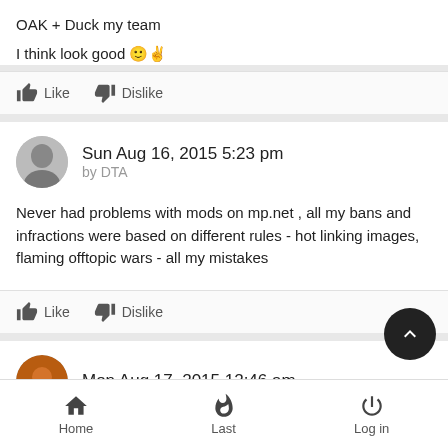OAK + Duck my team

I think look good 😊✌
Like  Dislike
Sun Aug 16, 2015 5:23 pm by DTA
Never had problems with mods on mp.net , all my bans and infractions were based on different rules - hot linking images, flaming offtopic wars - all my mistakes
Like  Dislike
Mon Aug 17, 2015 12:46 am
Home  Last  Log in